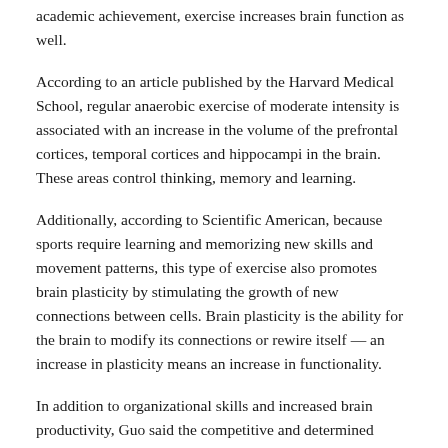academic achievement, exercise increases brain function as well.
According to an article published by the Harvard Medical School, regular anaerobic exercise of moderate intensity is associated with an increase in the volume of the prefrontal cortices, temporal cortices and hippocampi in the brain. These areas control thinking, memory and learning.
Additionally, according to Scientific American, because sports require learning and memorizing new skills and movement patterns, this type of exercise also promotes brain plasticity by stimulating the growth of new connections between cells. Brain plasticity is the ability for the brain to modify its connections or rewire itself — an increase in plasticity means an increase in functionality.
In addition to organizational skills and increased brain productivity, Guo said the competitive and determined mindset she possesses as an athlete also influences her work ethic.
“I think that swimming has helped me with ... just being able to grit my teeth and do tasks that may be unpleasant in the short term but will